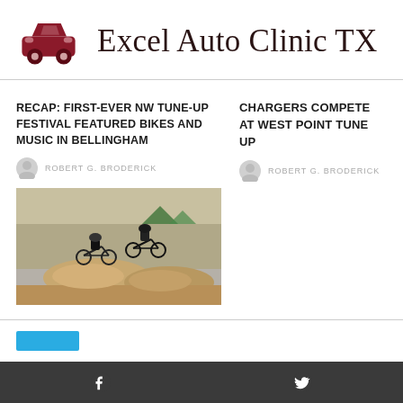Excel Auto Clinic TX
RECAP: FIRST-EVER NW TUNE-UP FESTIVAL FEATURED BIKES AND MUSIC IN BELLINGHAM
ROBERT G. BRODERICK
[Figure (photo): Two mountain bikers jumping over dirt mounds at an outdoor festival event with crowd and tents in background]
CHARGERS COMPETE AT WEST POINT TUNE UP
ROBERT G. BRODERICK
Facebook Twitter social footer bar